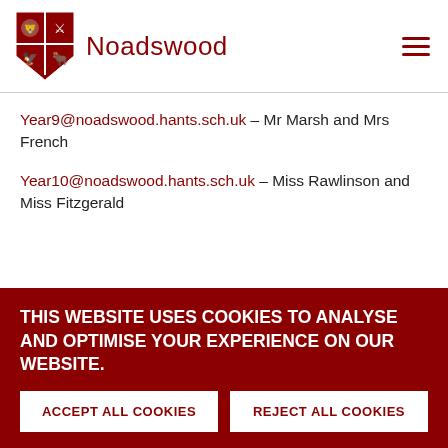[Figure (logo): Noadswood school logo with shield containing four quadrants with animal crests, and the text 'Noadswood' in dark red]
Year9@noadswood.hants.sch.uk – Mr Marsh and Mrs French
Year10@noadswood.hants.sch.uk – Miss Rawlinson and Miss Fitzgerald
THIS WEBSITE USES COOKIES TO ANALYSE AND OPTIMISE YOUR EXPERIENCE ON OUR WEBSITE.
ACCEPT ALL COOKIES
REJECT ALL COOKIES